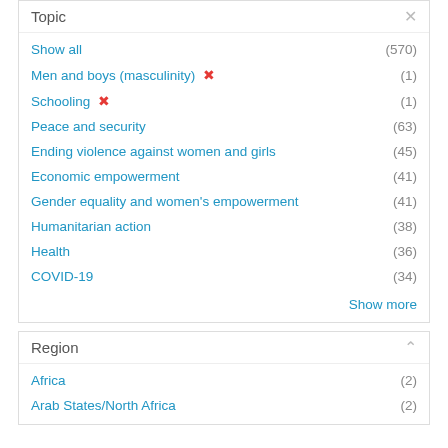Topic
Show all (570)
Men and boys (masculinity) ✕ (1)
Schooling ✕ (1)
Peace and security (63)
Ending violence against women and girls (45)
Economic empowerment (41)
Gender equality and women's empowerment (41)
Humanitarian action (38)
Health (36)
COVID-19 (34)
Show more
Region
Africa (2)
Arab States/North Africa (2)